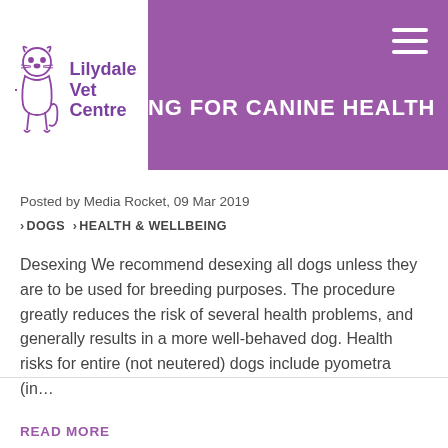[Figure (logo): Lilydale Vet Centre logo with purple cat/dog illustration and purple text]
...NG FOR CANINE HEALTH
Posted by Media Rocket, 09 Mar 2019
> DOGS  > HEALTH & WELLBEING
Desexing We recommend desexing all dogs unless they are to be used for breeding purposes. The procedure greatly reduces the risk of several health problems, and generally results in a more well-behaved dog. Health risks for entire (not neutered) dogs include pyometra (in...
READ MORE